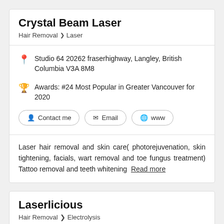Crystal Beam Laser
Hair Removal > Laser
Studio 64 20262 fraserhighway, Langley, British Columbia V3A 8M8
Awards: #24 Most Popular in Greater Vancouver for 2020
Contact me  Email  www
Laser hair removal and skin care( photorejuvenation, skin tightening, facials, wart removal and toe fungus treatment) Tattoo removal and teeth whitening  Read more
Laserlicious
Hair Removal > Electrolysis
[Figure (photo): Photo strip of Laserlicious business listing]